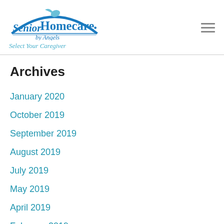Senior Homecare by Angels — Select Your Caregiver
Archives
January 2020
October 2019
September 2019
August 2019
July 2019
May 2019
April 2019
February 2019
January 2019
November 2018